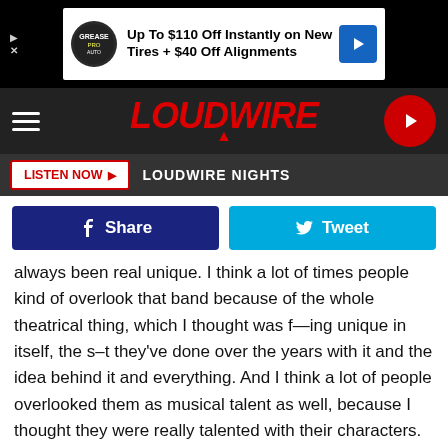[Figure (screenshot): Advertisement banner: 'Up To $110 Off Instantly on New Tires + $40 Off Alignments']
LOUDWIRE
LISTEN NOW  LOUDWIRE NIGHTS
[Figure (infographic): Facebook Share button and Twitter Tweet button]
always been real unique. I think a lot of times people kind of overlook that band because of the whole theatrical thing, which I thought was f—ing unique in itself, the s–t they've done over the years with it and the idea behind it and everything. And I think a lot of people overlooked them as musical talent as well, because I thought they were really talented with their characters. What Dave Brockie did on vocals, with Oderus, it is all so f—ing unique.
They used to come here [New Orleans], before they put out